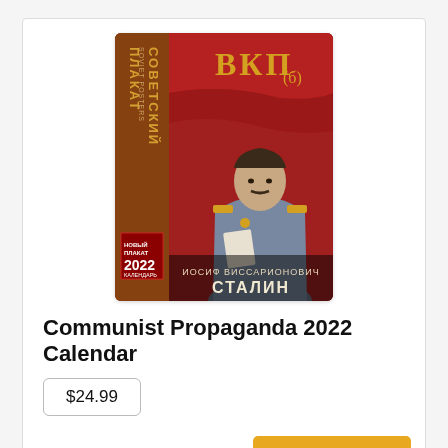[Figure (illustration): Cover of a Soviet propaganda calendar for 2022 featuring Stalin. Red background with Cyrillic text 'СОВЕТСКИЙ ПЛАКАТ' (Soviet Poster) vertically on left side, 'ВКП' text in gold at top, a painting of Stalin in military uniform holding papers, Cyrillic text 'ИОСИФ ВИССАРИОНОВИЧ СТАЛИН' at bottom, and '2022' in lower left.]
Communist Propaganda 2022 Calendar
$24.99
🛒 Buy Now
[Figure (illustration): Partial view of a book cover showing 'МОСКВА' (Moscow) in gold letters on a blue sky background with a cityscape below.]